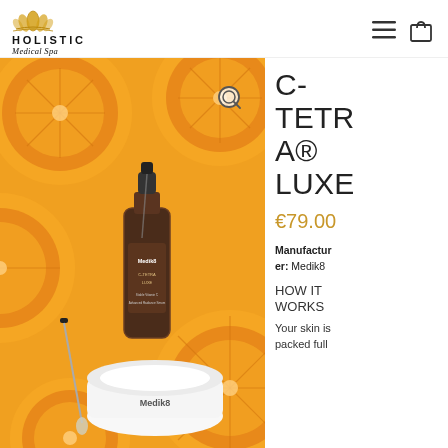HOLISTIC Medical Spa
[Figure (photo): Product photo of Medik8 C-TETRA LUXE serum bottle with dropper, surrounded by sliced oranges and a white jar, on a bright orange citrus background]
C-TETRA® LUXE
€79.00
Manufacturer: Medik8
HOW IT WORKS
Your skin is packed full